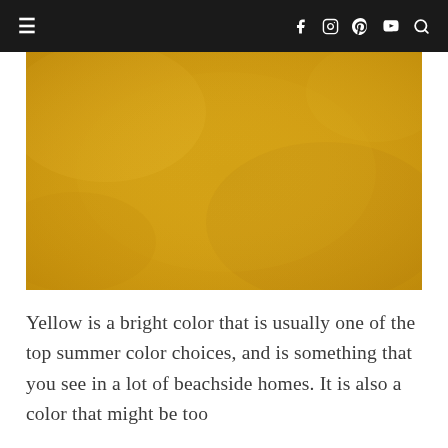≡  f  ⊙  ℗  ▶  🔍
[Figure (photo): Close-up texture of yellow/golden painted or plastered surface with mottled, aged appearance]
Yellow is a bright color that is usually one of the top summer color choices, and is something that you see in a lot of beachside homes. It is also a color that might be too